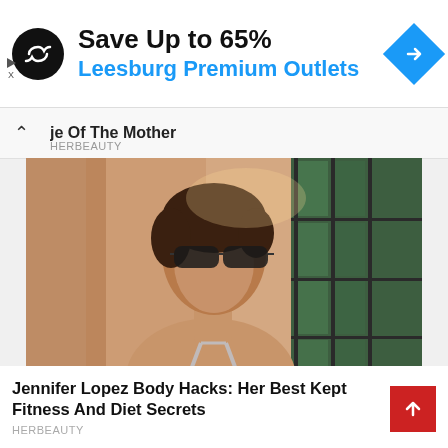[Figure (other): Advertisement banner: black circular logo with infinity symbol, text 'Save Up to 65% Leesburg Premium Outlets', blue diamond arrow icon on right]
je Of The Mother
HERBEAUTY
[Figure (photo): Photo of Jennifer Lopez wearing sunglasses and a light grey bikini top, head tilted back, sun shining, pink/peach wall and green-tinted window in background]
Jennifer Lopez Body Hacks: Her Best Kept Fitness And Diet Secrets
HERBEAUTY